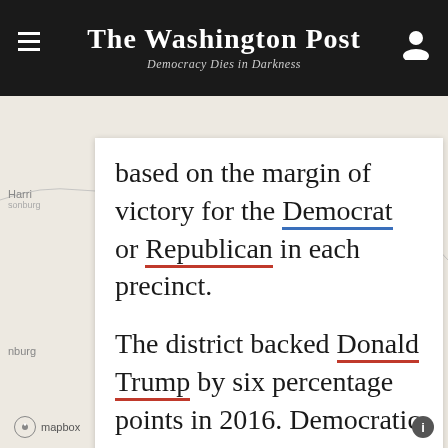The Washington Post
Democracy Dies in Darkness
[Figure (map): Virginia congressional district map showing precinct-level margins, with Richmond and surrounding areas visible. District outline shown in black on light gray background. Labels: Harrisonburg, Richmond, Hopewell, nburg (Lynchburg partial).]
based on the margin of victory for the Democrat or Republican in each precinct.

The district backed Donald Trump by six percentage points in 2016. Democratic margins around Richmond were outweighed by the Republican tilt of the rest of the district.